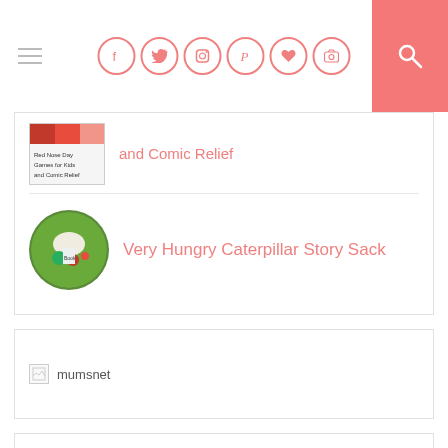Navigation header with hamburger menu, social icons (Facebook, Twitter, Instagram, Pinterest, heart, camera), and search button
[Figure (screenshot): Thumbnail image showing Red Nose Day Games for Kids and Comic Relief article thumbnail (rectangular)]
and Comic Relief
[Figure (photo): Circular thumbnail showing Very Hungry Caterpillar Story Sack with a bag, books, and toy fruits]
Very Hungry Caterpillar Story Sack
[Figure (logo): mumsnet logo image (broken/loading image placeholder with text 'mumsnet')]
mumsnet